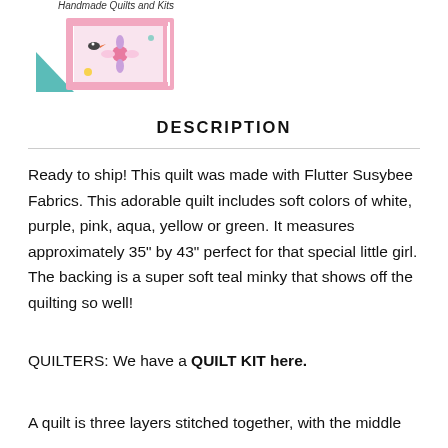[Figure (logo): Shop logo showing a quilt image with text 'Handmade Quilts and Kits' above it]
DESCRIPTION
Ready to ship! This quilt was made with Flutter Susybee Fabrics. This adorable quilt includes soft colors of white, purple, pink, aqua, yellow or green. It measures approximately 35" by 43" perfect for that special little girl. The backing is a super soft teal minky that shows off the quilting so well!
QUILTERS: We have a QUILT KIT here.
A quilt is three layers stitched together, with the middle